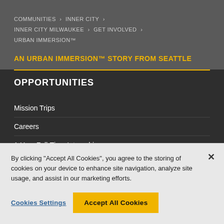COMMUNITIES › INNER CITY › INNER CITY MILWAUKEE › GET INVOLVED › URBAN IMMERSION™
AN URBAN IMMERSION™ STORY FROM SEATTLE
OPPORTUNITIES
Mission Trips
Careers
1-Year Full-Time Internships
ABOUT
By clicking "Accept All Cookies", you agree to the storing of cookies on your device to enhance site navigation, analyze site usage, and assist in our marketing efforts.
Cookies Settings
Accept All Cookies